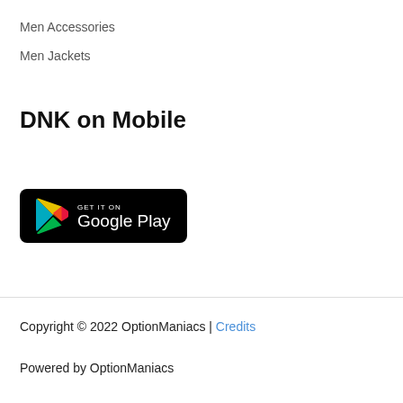Men Accessories
Men Jackets
DNK on Mobile
[Figure (logo): Google Play store badge — black rounded rectangle with the Google Play triangle logo and text 'GET IT ON Google Play']
Copyright © 2022 OptionManiacs | Credits
Powered by OptionManiacs